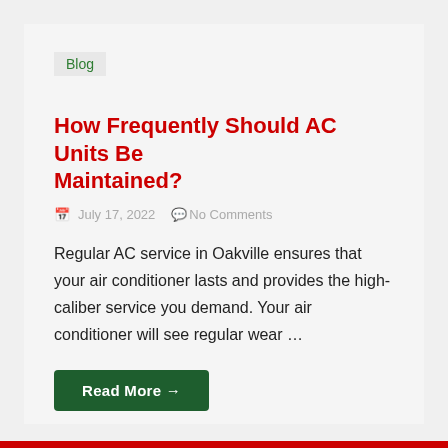Blog
How Frequently Should AC Units Be Maintained?
July 17, 2022   No Comments
Regular AC service in Oakville ensures that your air conditioner lasts and provides the high-caliber service you demand. Your air conditioner will see regular wear …
Read More →